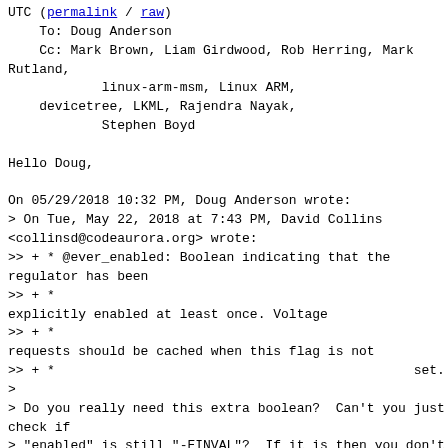UTC (permalink / raw)
    To: Doug Anderson
    Cc: Mark Brown, Liam Girdwood, Rob Herring, Mark Rutland,
            linux-arm-msm, Linux ARM,
    devicetree, LKML, Rajendra Nayak,
            Stephen Boyd

Hello Doug,

On 05/29/2018 10:32 PM, Doug Anderson wrote:
> On Tue, May 22, 2018 at 7:43 PM, David Collins <collinsd@codeaurora.org> wrote:
>> + * @ever_enabled: Boolean indicating that the regulator has been
>> + *
explicitly enabled at least once. Voltage
>> + *
requests should be cached when this flag is not
>> + *                                              set.
>
> Do you really need this extra boolean?  Can't you just check if
> "enabled" is still "-EINVAL"?  If it is then you don't pass the